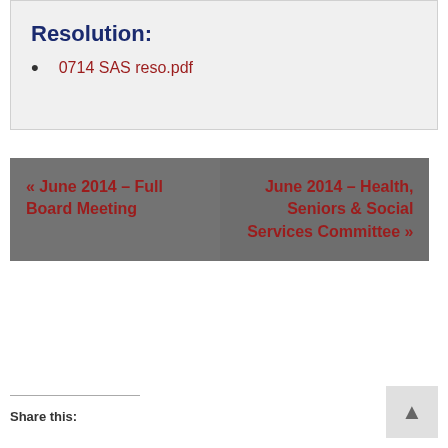Resolution:
0714 SAS reso.pdf
« June 2014 – Full Board Meeting
June 2014 – Health, Seniors & Social Services Committee »
Share this: